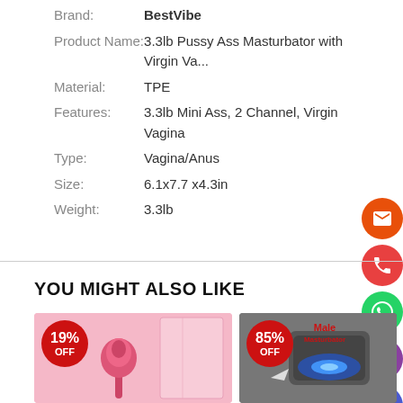Brand: BestVibe
Product Name: 3.3lb Pussy Ass Masturbator with Virgin Va...
Material: TPE
Features: 3.3lb Mini Ass, 2 Channel, Virgin Vagina
Type: Vagina/Anus
Size: 6.1x7.7 x4.3in
Weight: 3.3lb
YOU MIGHT ALSO LIKE
[Figure (photo): Product card with 19% OFF badge showing a pink rose vibrator toy]
[Figure (photo): Product card with 85% OFF badge showing Male Masturbator device with blue light]